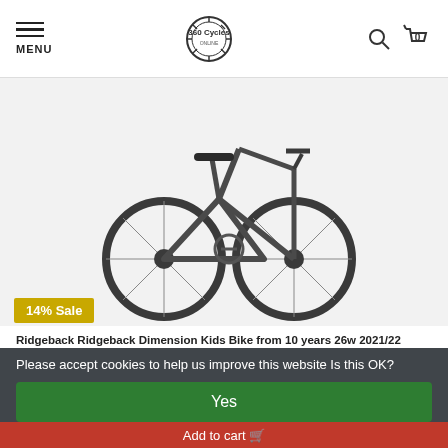MENU | 360 Cycles logo | Search | Basket (0)
[Figure (photo): Dark grey children's hybrid bicycle (Ridgeback Dimension Kids Bike) photographed on white background, showing full side profile with gears, handlebars, and saddle visible.]
14% Sale
Ridgeback Ridgeback Dimension Kids Bike from 10 years 26w 2021/22
Please accept cookies to help us improve this website Is this OK?
Yes
No
Compare
More on cookies »
Add to cart